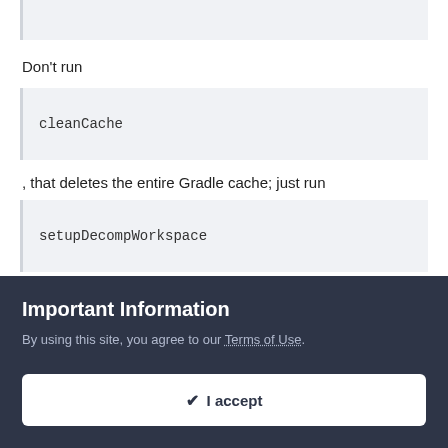Don't run
cleanCache
, that deletes the entire Gradle cache; just run
setupDecompWorkspace
and then refresh your IDE project. For IDEA this can be done from the Gradle window, for Eclipse you may or may not
Important Information
By using this site, you agree to our Terms of Use.
✔ I accept